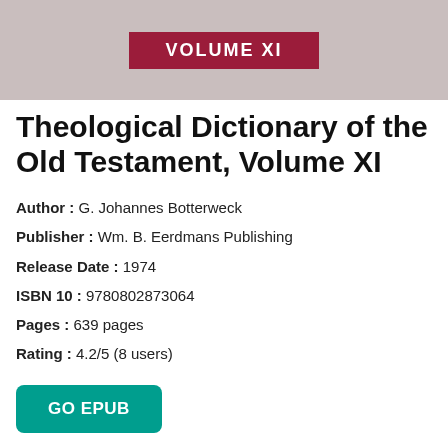[Figure (illustration): Book cover image showing a gray background with a dark red/maroon band in the center containing the text VOLUME XI in white capital letters.]
Theological Dictionary of the Old Testament, Volume XI
Author : G. Johannes Botterweck
Publisher : Wm. B. Eerdmans Publishing
Release Date : 1974
ISBN 10 : 9780802873064
Pages : 639 pages
Rating : 4.2/5 (8 users)
GO EPUB